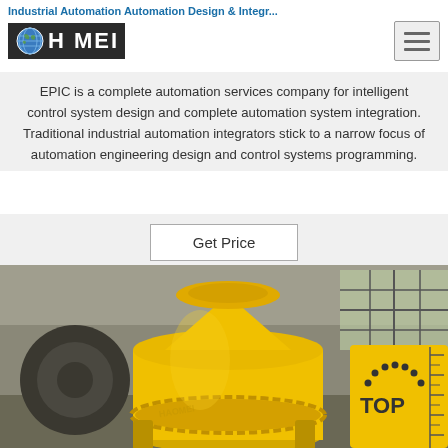Industrial Automation Automation Design & Integr...
[Figure (logo): HAOMEI logo with globe icon, white text on dark background]
EPIC is a complete automation services company for intelligent control system design and complete automation system integration. Traditional industrial automation integrators stick to a narrow focus of automation engineering design and control systems programming.
Get Price
[Figure (photo): Yellow industrial concrete mixer machine in a factory/warehouse setting with windows visible in the background. A yellow panel on the right shows 'TOP' branding with a dotted arc design.]